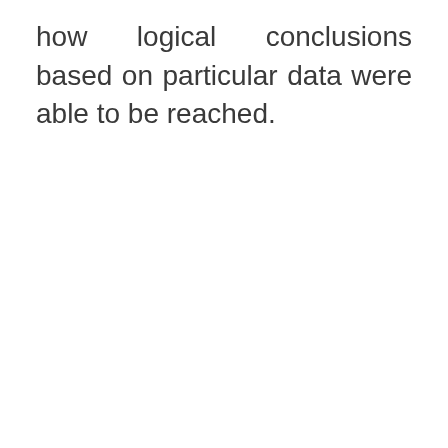how logical conclusions based on particular data were able to be reached.
[Figure (illustration): Dark grey triangle shape in the bottom-right corner of the page, partially cut off.]